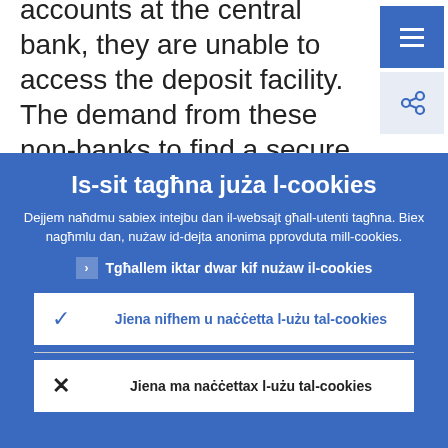accounts at the central bank, they are unable to access the deposit facility. The demand from these non-banks to find a secure place to deposit cash is a contributory factor to repo rates trading
Is-sit tagħna juża l-cookies
Dejjem naħdmu sabiex intejbu dan il-websajt għall-utenti tagħna. Biex nagħmlu dan, nużaw id-dejta anonima pprovduta mill-cookies.
Tgħallem iktar dwar kif nużaw il-cookies
Jiena nifhem u naċċetta l-użu tal-cookies
Jiena ma naċċettax l-użu tal-cookies